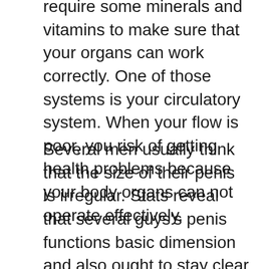require some minerals and vitamins to make sure that your organs can work correctly. One of those systems is your circulatory system. When your flow is poor, you risk of getting health problems because your body organs can not operate effectively.
Several men usually think that the size of their penis is irregular. Stats reveal that several guys's penis functions basic dimension and also ought to stay clear of worrying over it. Similarly, research studies reveal that 85% of ladies locate bigger penis intriguing, unlike average and also petite sized penis. Larger penises drive women insane due to the fact that they assure